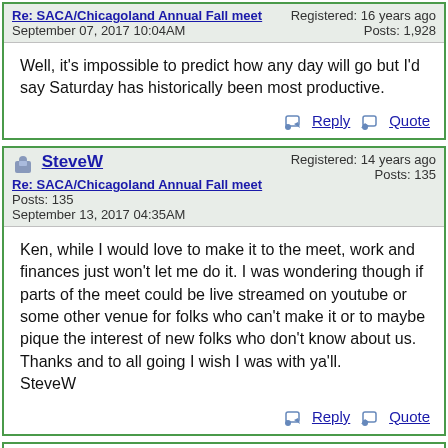Re: SACA/Chicagoland Annual Fall meet September 07, 2017 10:04AM Registered: 16 years ago Posts: 1,928
Well, it's impossible to predict how any day will go but I'd say Saturday has historically been most productive.
SteveW Re: SACA/Chicagoland Annual Fall meet September 13, 2017 04:35AM Registered: 14 years ago Posts: 135
Ken, while I would love to make it to the meet, work and finances just won't let me do it. I was wondering though if parts of the meet could be live streamed on youtube or some other venue for folks who can't make it or to maybe pique the interest of new folks who don't know about us.
Thanks and to all going I wish I was with ya'll.
SteveW